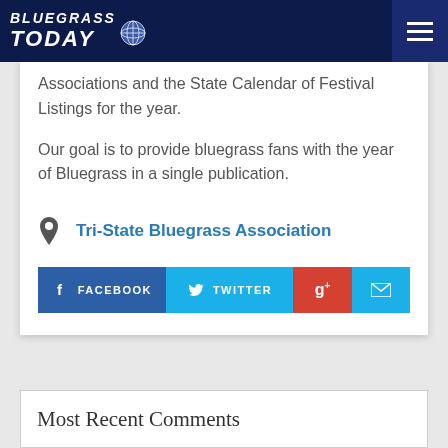Bluegrass Today
Associations and the State Calendar of Festival Listings for the year.
Our goal is to provide bluegrass fans with the year of Bluegrass in a single publication.
Tri-State Bluegrass Association
FACEBOOK  TWITTER  G+  [email icon]
Most Recent Comments